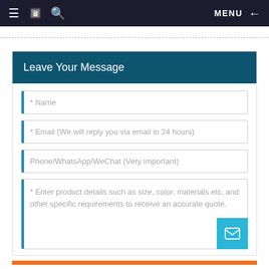≡  [book icon]  🔍    MENU  ←
Leave Your Message
* Name
* Email (We will reply you via email in 24 hours)
Phone/WhatsApp/WeChat (Very important)
* Enter product details such as size, color, materials etc. and other specific requirements to receive an accurate quote.